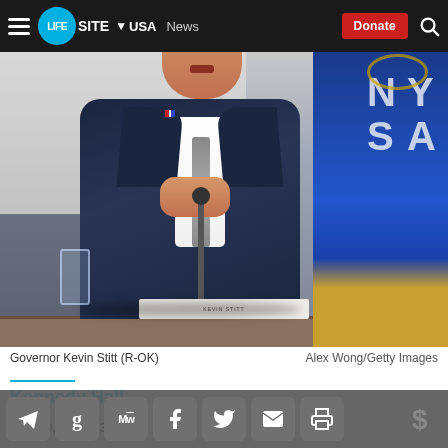LIFESITE · USA · News · Donate
[Figure (photo): Governor Kevin Stitt (R-OK) seated at a table with microphone, wearing dark suit and tie, Oklahoma state flag visible in background]
Governor Kevin Stitt (R-OK)
Alex Wong/Getty Images
Kennedy Hall
Nov 10, 2021 · 3:07 pm EST